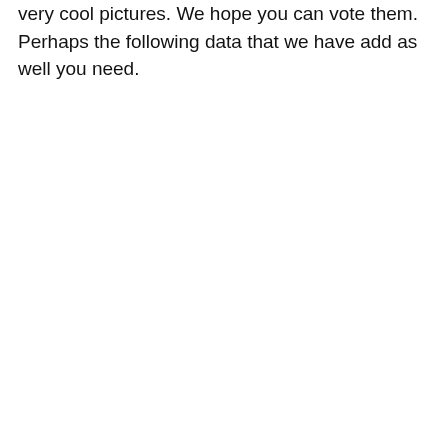very cool pictures. We hope you can vote them. Perhaps the following data that we have add as well you need.